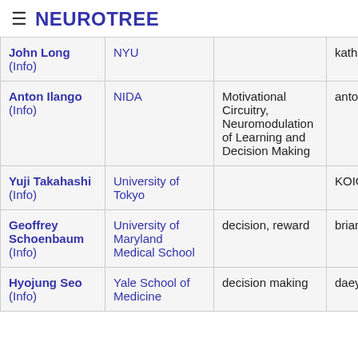≡ NEUROTREE
|  |  |  |  |
| --- | --- | --- | --- |
| John Long (Info) | NYU |  | kathleen |
| Anton Ilango (Info) | NIDA | Motivational Circuitry, Neuromodulation of Learning and Decision Making | antonilango |
| Yuji Takahashi (Info) | University of Tokyo |  | KOICHI |
| Geoffrey Schoenbaum (Info) | University of Maryland Medical School | decision, reward | brian |
| Hyojung Seo (Info) | Yale School of Medicine | decision making | daeyeol_lee |